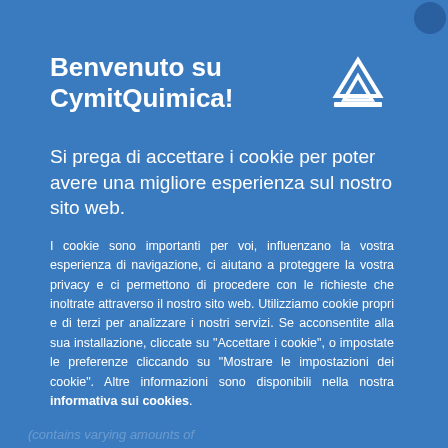Benvenuto su CymitQuimica!
Si prega di accettare i cookie per poter avere una migliore esperienza sul nostro sito web.
I cookie sono importanti per voi, influenzano la vostra esperienza di navigazione, ci aiutano a proteggere la vostra privacy e ci permettono di procedere con le richieste che inoltrate attraverso il nostro sito web. Utilizziamo cookie propri e di terzi per analizzare i nostri servizi. Se acconsentite alla sua installazione, cliccate su "Accettare i cookie", o impostate le preferenze cliccando su "Mostrare le impostazioni dei cookie". Altre informazioni sono disponibili nella nostra informativa sui cookies.
Accettare i cookie
(contains varying amounts of